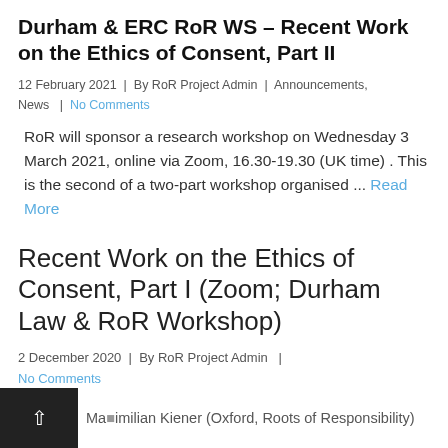Durham & ERC RoR WS – Recent Work on the Ethics of Consent, Part II
12 February 2021  |  By RoR Project Admin  |  Announcements, News  |  No Comments
RoR will sponsor a research workshop on Wednesday 3 March 2021, online via Zoom, 16.30-19.30 (UK time) . This is the second of a two-part workshop organised … Read More
Recent Work on the Ethics of Consent, Part I (Zoom; Durham Law & RoR Workshop)
2 December 2020  |  By RoR Project Admin  |  No Comments
Maximilian Kiener (Oxford, Roots of Responsibility)